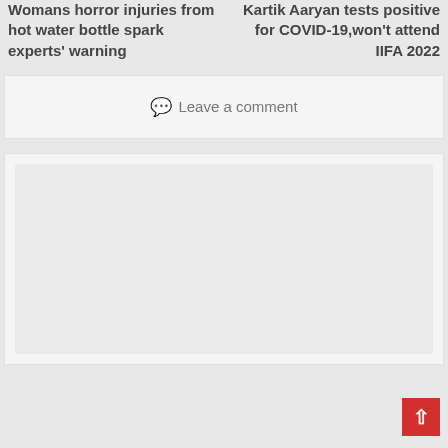Womans horror injuries from hot water bottle spark experts' warning
Kartik Aaryan tests positive for COVID-19,won't attend IIFA 2022
Leave a comment
[Figure (other): Advertisement placeholder — empty light gray rectangle]